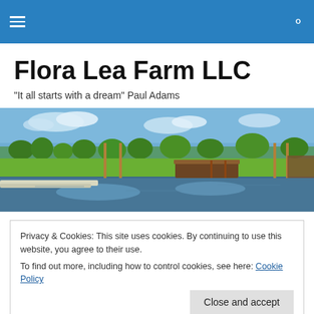Flora Lea Farm LLC website header with hamburger menu and search icon
Flora Lea Farm LLC
"It all starts with a dream" Paul Adams
[Figure (photo): Outdoor farm scene showing a pond or water feature reflecting the sky, green grass fields, trees, and equestrian jump obstacles. Wide panoramic view of a farm property.]
Privacy & Cookies: This site uses cookies. By continuing to use this website, you agree to their use.
To find out more, including how to control cookies, see here: Cookie Policy
Close and accept
wear a mask in any situation where they must be